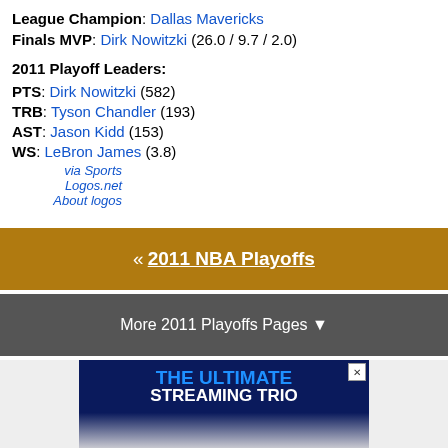League Champion: Dallas Mavericks
Finals MVP: Dirk Nowitzki (26.0 / 9.7 / 2.0)
via Sports Logos.net
About logos
2011 Playoff Leaders:
PTS: Dirk Nowitzki (582)
TRB: Tyson Chandler (193)
AST: Jason Kidd (153)
WS: LeBron James (3.8)
« 2011 NBA Playoffs
More 2011 Playoffs Pages ▼
[Figure (other): Advertisement banner: THE ULTIMATE STREAMING TRIO with Hulu, Disney+, ESPN+ logos on dark blue background]